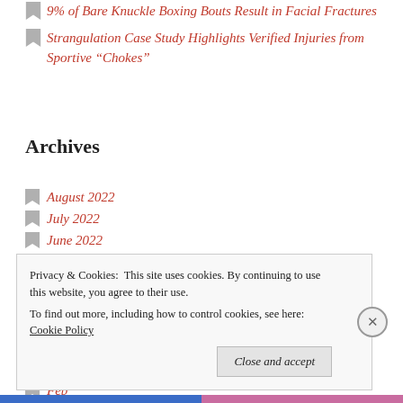9% of Bare Knuckle Boxing Bouts Result in Facial Fractures
Strangulation Case Study Highlights Verified Injuries from Sportive “Chokes”
Archives
August 2022
July 2022
June 2022
May 2022
April 2022
March 2022
Feb
Privacy & Cookies: This site uses cookies. By continuing to use this website, you agree to their use. To find out more, including how to control cookies, see here: Cookie Policy
Close and accept